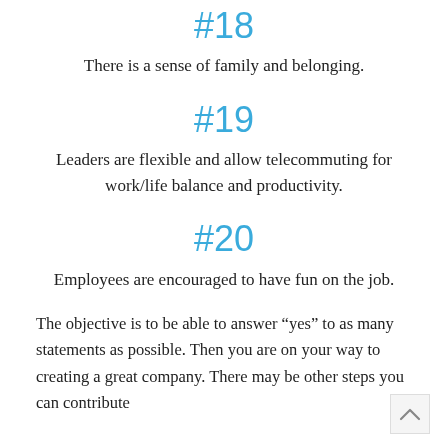#18
There is a sense of family and belonging.
#19
Leaders are flexible and allow telecommuting for work/life balance and productivity.
#20
Employees are encouraged to have fun on the job.
The objective is to be able to answer “yes” to as many statements as possible. Then you are on your way to creating a great company. There may be other steps you can contribute